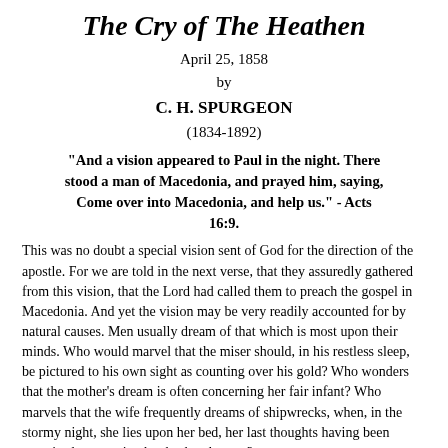The Cry of The Heathen
April 25, 1858
by
C. H. SPURGEON
(1834-1892)
"And a vision appeared to Paul in the night. There stood a man of Macedonia, and prayed him, saying, Come over into Macedonia, and help us." - Acts 16:9.
This was no doubt a special vision sent of God for the direction of the apostle. For we are told in the next verse, that they assuredly gathered from this vision, that the Lord had called them to preach the gospel in Macedonia. And yet the vision may be very readily accounted for by natural causes. Men usually dream of that which is most upon their minds. Who would marvel that the miser should, in his restless sleep, be pictured to his own sight as counting over his gold? Who wonders that the mother's dream is often concerning her fair infant? Who marvels that the wife frequently dreams of shipwrecks, when, in the stormy night, she lies upon her bed, her last thoughts having been exercised concerning her husband at sea?